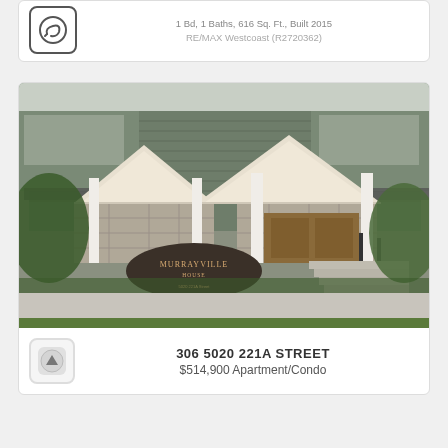1 Bd, 1 Baths, 616 Sq. Ft., Built 2015
RE/MAX Westcoast (R2720362)
[Figure (photo): Exterior photograph of Murrayville House, a craftsman-style apartment building at 5020 221A Street with stone facade, peaked white roof portico, black iron railings, and landscaped greenery. A sign reading 'Murrayville House' is visible in the foreground.]
306 5020 221A STREET
$514,900 Apartment/Condo